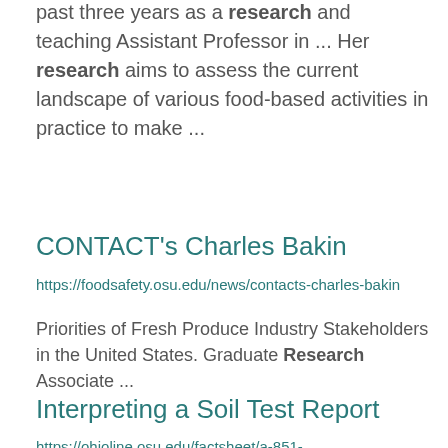Extension personnel. She has spent the past three years as a research and teaching Assistant Professor in ... Her research aims to assess the current landscape of various food-based activities in practice to make ...
CONTACT's Charles Bakin
https://foodsafety.osu.edu/news/contacts-charles-bakin
Priorities of Fresh Produce Industry Stakeholders in the United States. Graduate Research Associate ...
Interpreting a Soil Test Report
https://ohioline.osu.edu/factsheet/a-851-...